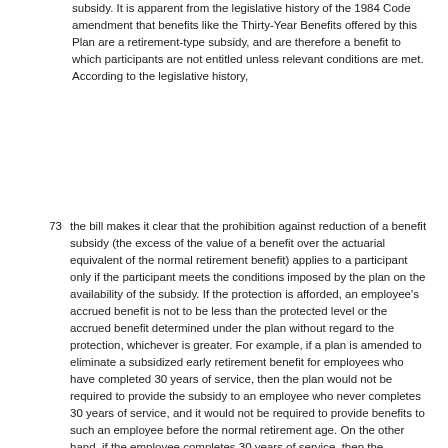subsidy. It is apparent from the legislative history of the 1984 Code amendment that benefits like the Thirty-Year Benefits offered by this Plan are a retirement-type subsidy, and are therefore a benefit to which participants are not entitled unless relevant conditions are met. According to the legislative history,
73 the bill makes it clear that the prohibition against reduction of a benefit subsidy (the excess of the value of a benefit over the actuarial equivalent of the normal retirement benefit) applies to a participant only if the participant meets the conditions imposed by the plan on the availability of the subsidy. If the protection is afforded, an employee's accrued benefit is not to be less than the protected level or the accrued benefit determined under the plan without regard to the protection, whichever is greater. For example, if a plan is amended to eliminate a subsidized early retirement benefit for employees who have completed 30 years of service, then the plan would not be required to provide the subsidy to an employee who never completes 30 years of service, and it would not be required to provide benefits to such an employee before the normal retirement age. On the other hand, if the employee completes 30 years of service, then the employee's accrued benefit is not to be less than the protected level or the accrued benefit determined without regard to the protection, whichever is greater.